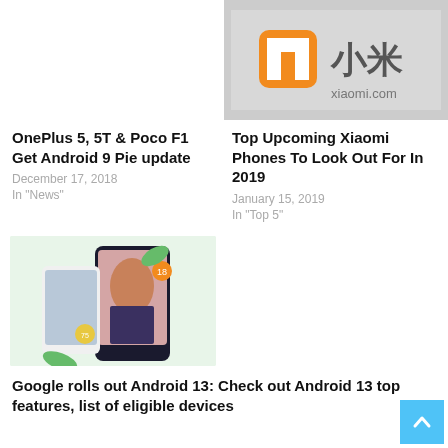[Figure (photo): Xiaomi logo and brand signage on a wall, showing the orange MI logo and Chinese characters with xiaomi.com text]
Top Upcoming Xiaomi Phones To Look Out For In 2019
January 15, 2019
In "Top 5"
OnePlus 5, 5T & Poco F1 Get Android 9 Pie update
December 17, 2018
In "News"
[Figure (photo): Google Pixel phone promotional image showing Android 13 on a phone with a portrait of a woman on screen, on a light green background with plant leaves]
Google rolls out Android 13: Check out Android 13 top features, list of eligible devices